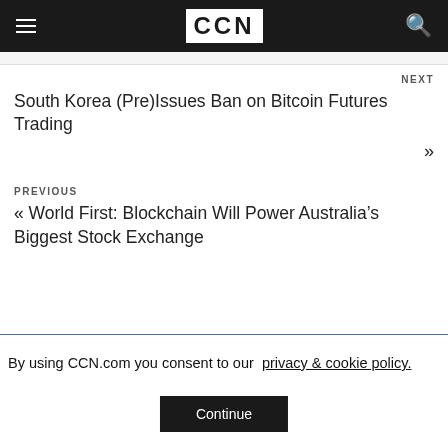CCN
NEXT
South Korea (Pre)Issues Ban on Bitcoin Futures Trading »
PREVIOUS
« World First: Blockchain Will Power Australia's Biggest Stock Exchange
By using CCN.com you consent to our privacy & cookie policy.
Continue